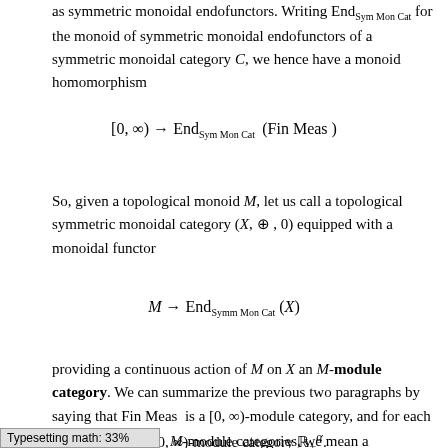as symmetric monoidal endofunctors. Writing End_{Sym Mon Cat} for the monoid of symmetric monoidal endofunctors of a symmetric monoidal category C, we hence have a monoid homomorphism
So, given a topological monoid M, let us call a topological symmetric monoidal category (X, ⊕, 0) equipped with a monoidal functor
providing a continuous action of M on X an M-module category. We can summarize the previous two paragraphs by saying that Fin Meas is a [0,∞)-module category, and for each α > 0 there is an [0,∞)-module category ℝ_+^α.
By a morphism of M-module categories, we mean a